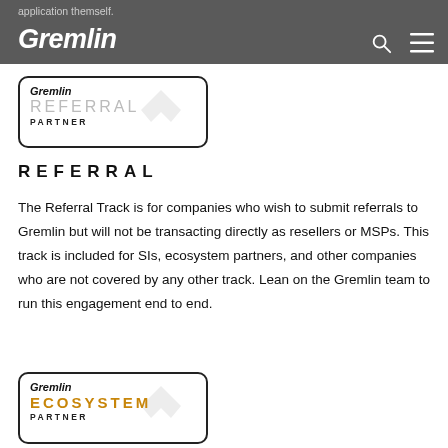application themself.
[Figure (logo): Gremlin Referral Partner badge with watermark]
REFERRAL
The Referral Track is for companies who wish to submit referrals to Gremlin but will not be transacting directly as resellers or MSPs. This track is included for SIs, ecosystem partners, and other companies who are not covered by any other track. Lean on the Gremlin team to run this engagement end to end.
[Figure (logo): Gremlin Ecosystem Partner badge with watermark]